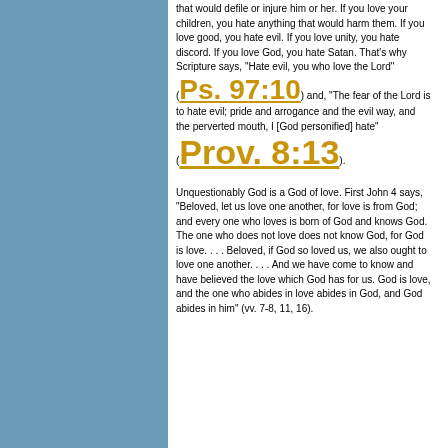that would defile or injure him or her. If you love your children, you hate anything that would harm them. If you love good, you hate evil. If you love unity, you hate discord. If you love God, you hate Satan. That's why Scripture says, "Hate evil, you who love the Lord" (Ps. 97:10) and, "The fear of the Lord is to hate evil; pride and arrogance and the evil way, and the perverted mouth, I [God personified] hate" (Prov. 8:13).
Unquestionably God is a God of love. First John 4 says, "Beloved, let us love one another, for love is from God; and every one who loves is born of God and knows God. The one who does not love does not know God, for God is love. . . . Beloved, if God so loved us, we also ought to love one another. . . . And we have come to know and have believed the love which God has for us. God is love, and the one who abides in love abides in God, and God abides in him" (vv. 7-8, 11, 16).